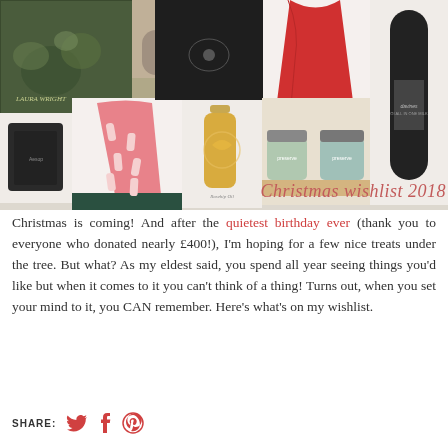[Figure (photo): Collage of gift items including a plant book, candles, red dress, dark hair product bottle, pink scarf, facial serum, jam jars, Aesop jar, and other beauty/lifestyle products. Script text reads 'Christmas wishlist 2018' in red cursive.]
Christmas is coming! And after the quietest birthday ever (thank you to everyone who donated nearly £400!), I'm hoping for a few nice treats under the tree. But what? As my eldest said, you spend all year seeing things you'd like but when it comes to it you can't think of a thing! Turns out, when you set your mind to it, you CAN remember. Here's what's on my wishlist.
SHARE: